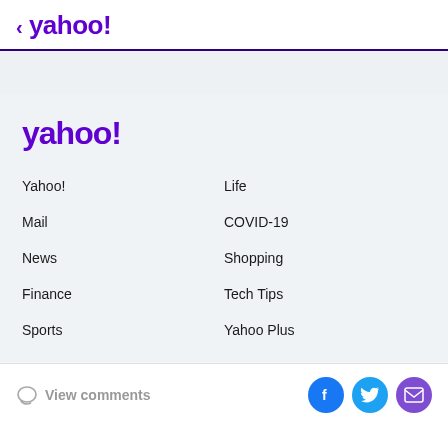< yahoo!
[Figure (logo): Yahoo! logo in purple, large, in footer section]
Yahoo!
Life
Mail
COVID-19
News
Shopping
Finance
Tech Tips
Sports
Yahoo Plus
View comments